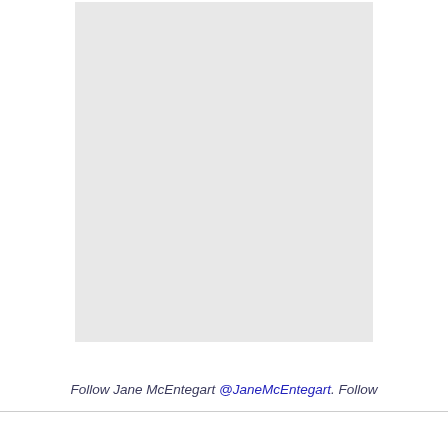[Figure (photo): Large light gray rectangular image placeholder occupying the upper portion of the page]
Follow Jane McEntegart @JaneMcEntegart. Follow